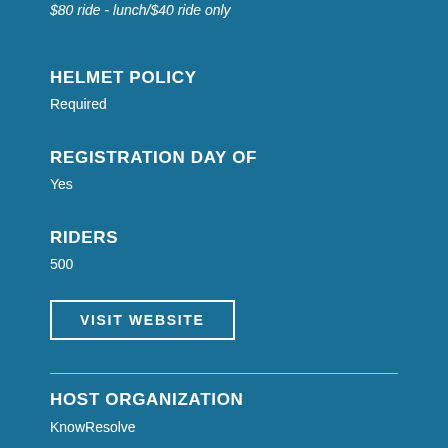$80 ride - lunch/$40 ride only
HELMET POLICY
Required
REGISTRATION DAY OF
Yes
RIDERS
500
VISIT WEBSITE
HOST ORGANIZATION
KnowResolve